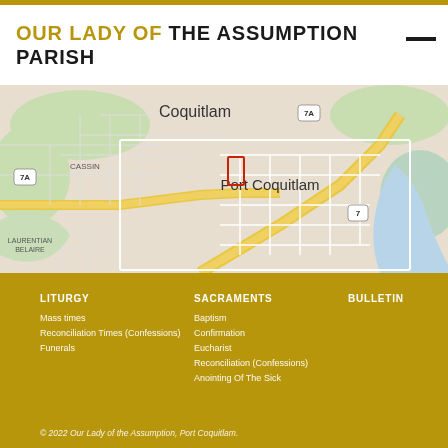OUR LADY OF THE ASSUMPTION PARISH
[Figure (map): Street map showing Coquitlam and Port Coquitlam area in British Columbia, Canada. Major roads including Highway 7A and Highway 7 are visible. A red rectangle marker indicates the parish location. Labels include Coquitlam, Port Coquitlam, Cassin, Laurentian Belaire neighborhoods.]
LITURGY
Mass times
Reconciliation Times (Confessions)
Funerals
SACRAMENTS
Baptism
Confirmation
Eucharist
Reconciliation (Confessions)
Anointing Of The Sick
BULLETIN
© 2022 Our Lady of the Assumption, Port Coquitlam.